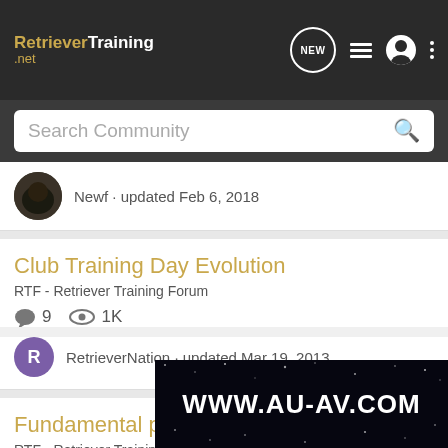RetrieverTraining.net
Search Community
Newf · updated Feb 6, 2018
Club Training Day Evolution
RTF - Retriever Training Forum
9 replies  1K views
RetrieverNation · updated Mar 19, 2013
Fundamental problem
RTF - Retriever Training Forum
29 replies  6K views
[Figure (screenshot): Watermark overlay showing WWW.AU-AV.COM on a starfield background]